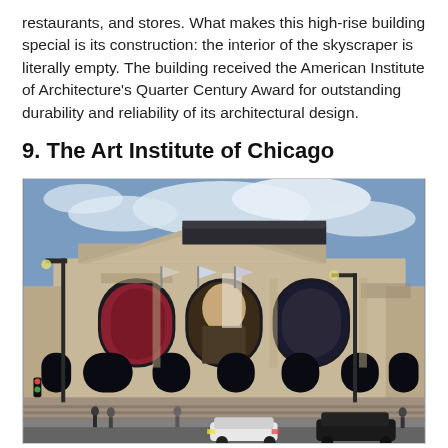restaurants, and stores. What makes this high-rise building special is its construction: the interior of the skyscraper is literally empty. The building received the American Institute of Architecture's Quarter Century Award for outstanding durability and reliability of its architectural design.
9. The Art Institute of Chicago
[Figure (photo): Exterior photograph of The Art Institute of Chicago building, showing its classical Beaux-Arts facade with large arched windows, a triangular pediment, decorative banners, flags flying in front, a lamppost on the left, and a street scene with pedestrians and a white car. Blue sky with clouds in the background.]